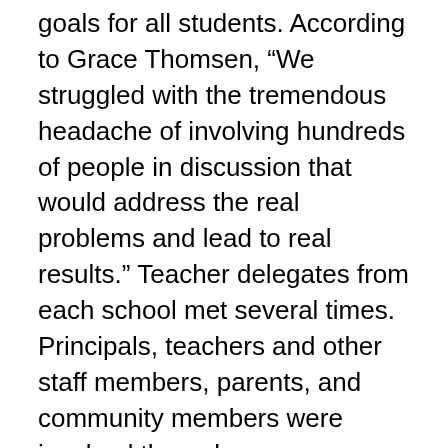goals for all students. According to Grace Thomsen, “We struggled with the tremendous headache of involving hundreds of people in discussion that would address the real problems and lead to real results.” Teacher delegates from each school met several times. Principals, teachers and other staff members, parents, and community members were involved through surveys, school based dialogues, and discussions within educational organizations. The process was complex and arduous, but the teachers and administrators who coordinated it were determined to establish the principle that widespread dialogue had to be at the heart of any